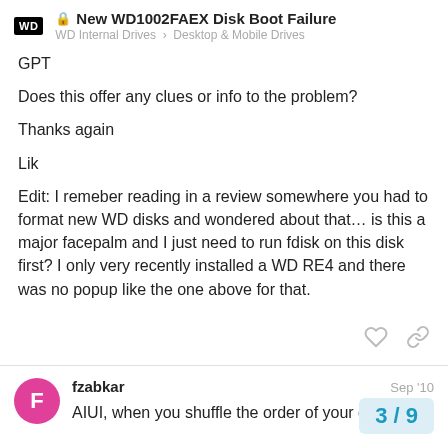New WD1002FAEX Disk Boot Failure — WD Internal Drives › Desktop & Mobile Drives
GPT
Does this offer any clues or info to the problem?
Thanks again
Lik
Edit: I remeber reading in a review somewhere you had to format new WD disks and wondered about that… is this a major facepalm and I just need to run fdisk on this disk first? I only very recently installed a WD RE4 and there was no popup like the one above for that.
fzabkar — Sep '10
AIUI, when you shuffle the order of your dr